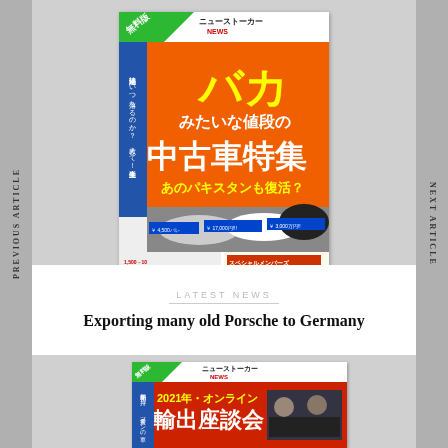PREVIOUS ARTICLE
[Figure (photo): Japanese magazine cover with orange background, bold Japanese text about used cars, text includes バカみたいな値段の中古車特集 and あのパキスタンも復活?, green banner in corner with 無料版]
LATEST NEWS
Exporting many old Porsche to Germany
[Figure (photo): Japanese magazine cover showing 2021年 オンライン 輸出座談会 with people on a video call, green banner in corner with 無料版]
NEXT ARTICLE